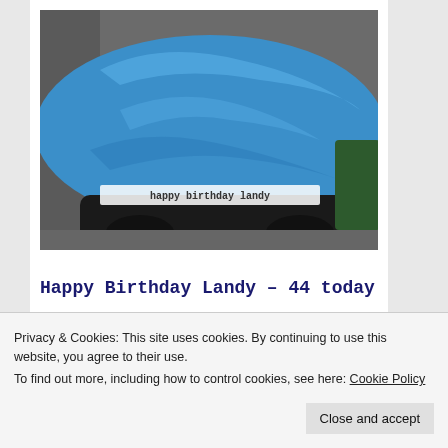[Figure (photo): A vehicle covered with a bright blue tarp/tarpaulin, parked in what appears to be a barn or shed. A banner or decoration with text is visible along the lower edge of the tarp.]
Happy Birthday Landy – 44 today
Sorry the barn is not as exciting as Algeria where you...
Privacy & Cookies: This site uses cookies. By continuing to use this website, you agree to their use.
To find out more, including how to control cookies, see here: Cookie Policy